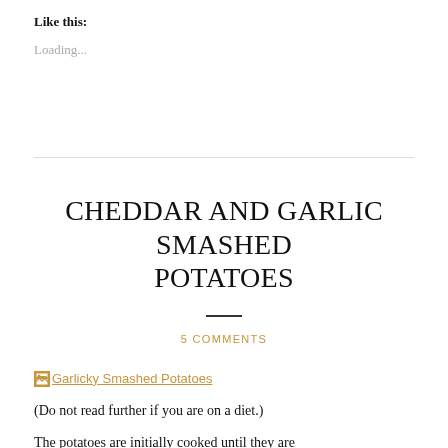Like this:
Loading...
CHEDDAR AND GARLIC SMASHED POTATOES
5 COMMENTS
[Figure (photo): Broken image placeholder with link text 'Garlicky Smashed Potatoes']
(Do not read further if you are on a diet.)
The potatoes are initially cooked until they are...